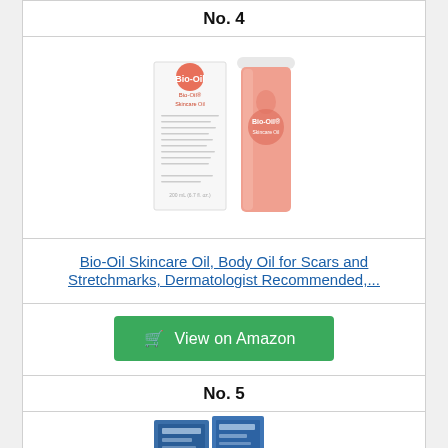No. 4
[Figure (photo): Bio-Oil Skincare Oil product photo showing white box packaging and pink glass bottle]
Bio-Oil Skincare Oil, Body Oil for Scars and Stretchmarks, Dermatologist Recommended,...
View on Amazon
No. 5
[Figure (photo): Partially visible blue product box at bottom of page]